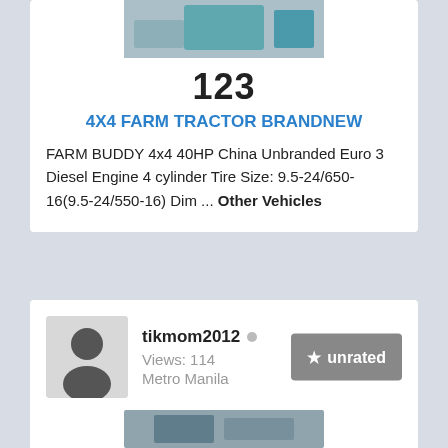[Figure (photo): Photo of a farm tractor, partially visible at top of card]
123
4X4 FARM TRACTOR BRANDNEW
FARM BUDDY 4x4 40HP China Unbranded Euro 3 Diesel Engine 4 cylinder Tire Size: 9.5-24/650-16(9.5-24/550-16) Dim ... Other Vehicles
tikmom2012 · Views: 114 · Metro Manila · unrated
[Figure (photo): Partial photo at bottom of page]